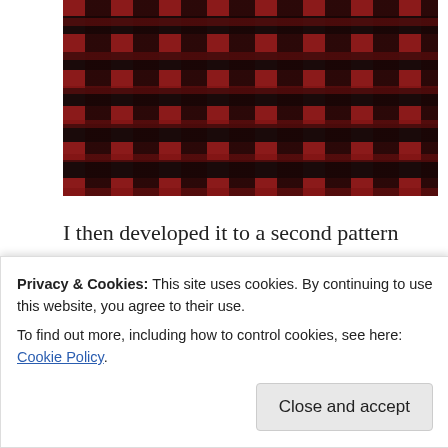[Figure (photo): Close-up photograph of a woven textile with red and dark/black geometric pattern showing a repeating comb or stepped design.]
I then developed it to a second pattern adding a bit more interest
[Figure (photo): Close-up photograph of a woven textile with dark crimson/red and dark navy/black pattern featuring small square motifs arranged in horizontal bands.]
Privacy & Cookies: This site uses cookies. By continuing to use this website, you agree to their use.
To find out more, including how to control cookies, see here: Cookie Policy